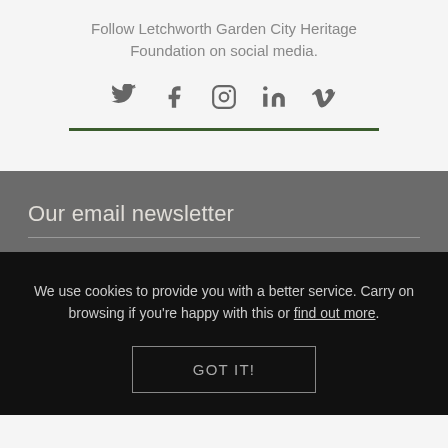Follow Letchworth Garden City Heritage Foundation on social media.
[Figure (illustration): Social media icons: Twitter, Facebook, Instagram, LinkedIn, Vimeo]
Our email newsletter
We use cookies to provide you with a better service. Carry on browsing if you're happy with this or find out more.
GOT IT!